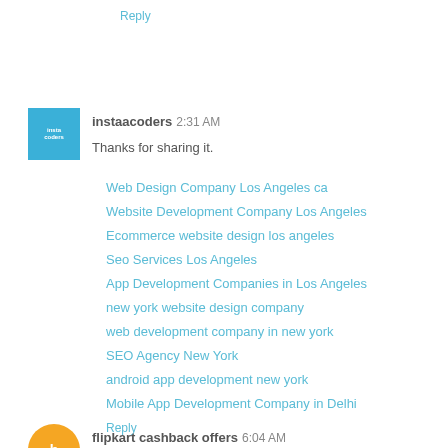Reply
instaacoders  2:31 AM
Thanks for sharing it.
Web Design Company Los Angeles ca
Website Development Company Los Angeles
Ecommerce website design los angeles
Seo Services Los Angeles
App Development Companies in Los Angeles
new york website design company
web development company in new york
SEO Agency New York
android app development new york
Mobile App Development Company in Delhi
Mobile App Development Services in Delhi
Reply
flipkart cashback offers  6:04 AM